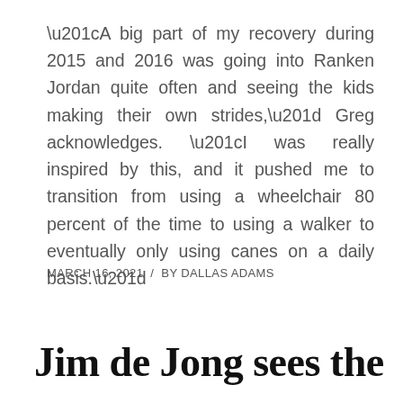“A big part of my recovery during 2015 and 2016 was going into Ranken Jordan quite often and seeing the kids making their own strides,” Greg acknowledges. “I was really inspired by this, and it pushed me to transition from using a wheelchair 80 percent of the time to using a walker to eventually only using canes on a daily basis.”
MARCH 16, 2021  /  BY DALLAS ADAMS
Jim de Jong sees the